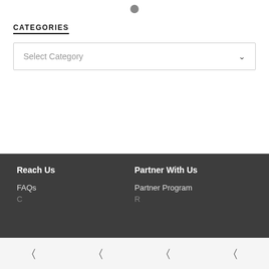[Figure (other): Small gray circle/dot at top center of page, likely a UI indicator or scroll position dot]
CATEGORIES
Select Category
Reach Us | FAQs | Partner With Us | Partner Program
Bottom navigation bar with four icon links